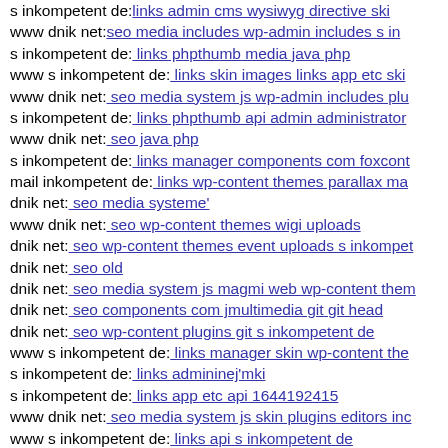s inkompetent de: links admin cms wysiwyg directive ski...
www dnik net: seo media includes wp-admin includes s in...
s inkompetent de: links phpthumb media java php
www s inkompetent de: links skin images links app etc ski...
www dnik net: seo media system js wp-admin includes plu...
s inkompetent de: links phpthumb api admin administrator...
www dnik net: seo java php
s inkompetent de: links manager components com foxcont...
mail inkompetent de: links wp-content themes parallax ma...
dnik net: seo media systeme'
www dnik net: seo wp-content themes wigi uploads
dnik net: seo wp-content themes event uploads s inkompe...
dnik net: seo old
dnik net: seo media system js magmi web wp-content them...
dnik net: seo components com jmultimedia git git head
dnik net: seo wp-content plugins git s inkompetent de
www s inkompetent de: links manager skin wp-content the...
s inkompetent de: links admininej'mki
s inkompetent de: links app etc api 1644192415
www dnik net: seo media system js skin plugins editors inc...
www s inkompetent de: links api s inkompetent de